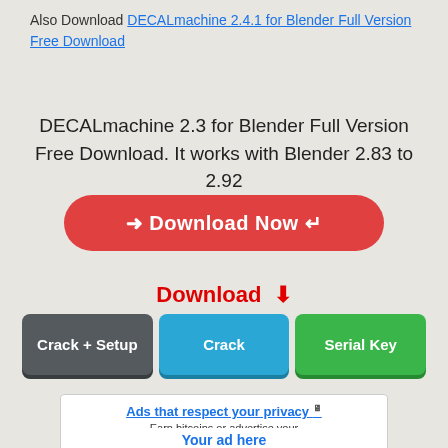Also Download DECALmachine 2.4.1 for Blender Full Version Free Download
DECALmachine 2.3 for Blender Full Version Free Download. It works with Blender 2.83 to 2.92
[Figure (other): Red rounded Download Now button with arrows]
Download ⬇
[Figure (other): Three download buttons: Crack + Setup (gray), Crack (blue), Serial Key (green)]
[Figure (other): Advertisement box: Ads that respect your privacy, Earn bitcoins or advertise your business, a-ads.com]
Your ad here